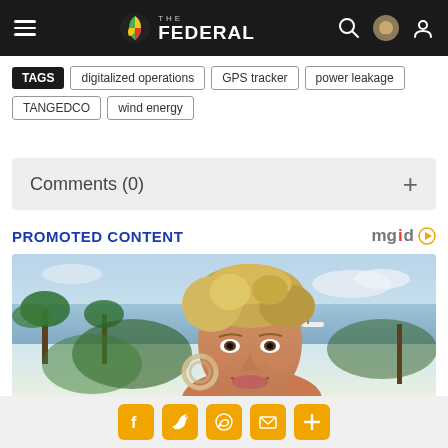The Federal - navigation header with hamburger menu, logo, search, avatar, and user icons
TAGS  digitalized operations  GPS tracker  power leakage  TANGEDCO  wind energy
Comments (0)
PROMOTED CONTENT
[Figure (photo): Photo of a middle-aged blonde woman with short hair, large hoop earrings, smiling, with palm trees, ocean, and blue sky in the background]
Social share bar with Facebook, Twitter, WhatsApp, Email, and More icons